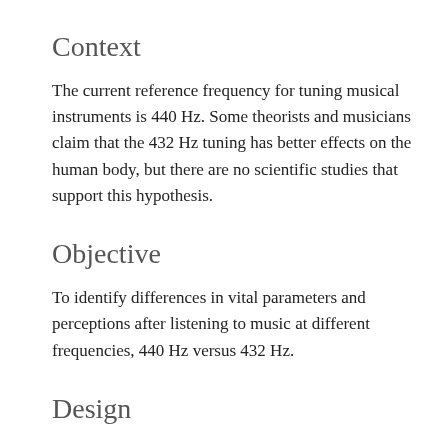Context
The current reference frequency for tuning musical instruments is 440 Hz. Some theorists and musicians claim that the 432 Hz tuning has better effects on the human body, but there are no scientific studies that support this hypothesis.
Objective
To identify differences in vital parameters and perceptions after listening to music at different frequencies, 440 Hz versus 432 Hz.
Design